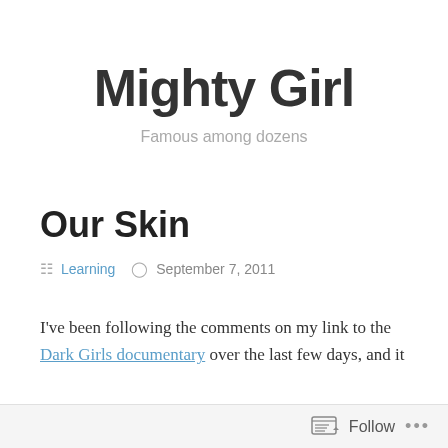Mighty Girl
Famous among dozens
Our Skin
Learning   September 7, 2011
I've been following the comments on my link to the Dark Girls documentary over the last few days, and it
Follow ...